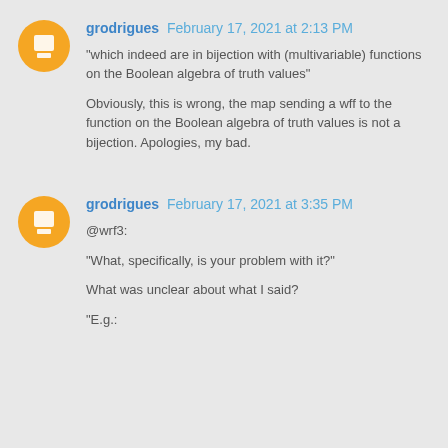grodrigues February 17, 2021 at 2:13 PM
"which indeed are in bijection with (multivariable) functions on the Boolean algebra of truth values"

Obviously, this is wrong, the map sending a wff to the function on the Boolean algebra of truth values is not a bijection. Apologies, my bad.
grodrigues February 17, 2021 at 3:35 PM
@wrf3:

"What, specifically, is your problem with it?"

What was unclear about what I said?

"E.g.: